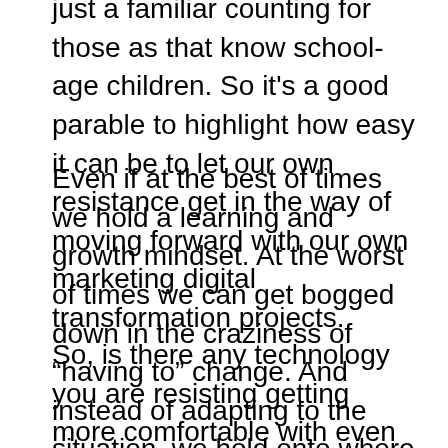just a familiar counting for those as that know school-age children. So it's a good parable to highlight how easy it can be to let our own resistance get in the way of moving forward with our own marketing digital transformation projects.
Even if at the best of times we hold a learning and growth mindset. At the worst of times we can get bogged down in the craziness of “having to” change. And instead of adapting to the situation, we hold onto where we feel most comfortable. Even if that means we can be left behind.
So, is there any technology you are resisting getting more comfortable with even though you know your industry is embracing it? Do you question what is holding you back? What's the biggest challenge for you?